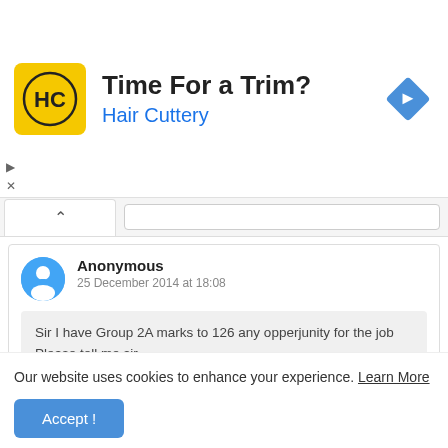[Figure (logo): Hair Cuttery advertisement banner with yellow HC logo, headline 'Time For a Trim?', subheading 'Hair Cuttery', and a blue navigation diamond icon on the right]
Anonymous
25 December 2014 at 18:08
Sir I have Group 2A marks to 126 any opperjunity for the job Please tell me sir.
Reply   Delete
Our website uses cookies to enhance your experience. Learn More
Accept !